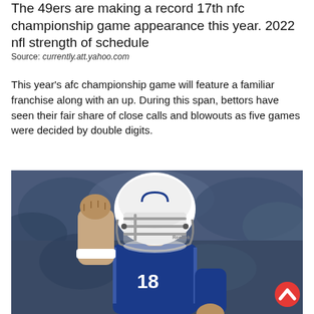The 49ers are making a record 17th nfc championship game appearance this year. 2022 nfl strength of schedule
Source: currently.att.yahoo.com
This year's afc championship game will feature a familiar franchise along with an up. During this span, bettors have seen their fair share of close calls and blowouts as five games were decided by double digits.
[Figure (photo): Football player wearing Indianapolis Colts white helmet with blue horseshoe logo and blue jersey number 18, raising a fist in celebration, with blurred crowd in background]